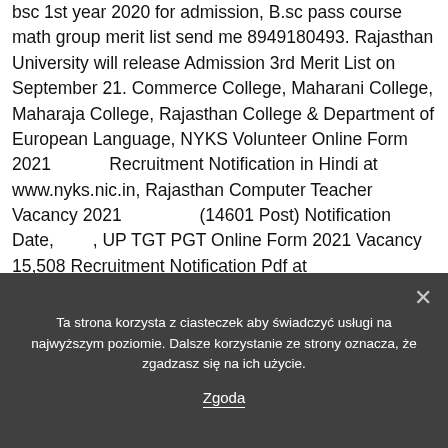bsc 1st year 2020 for admission, B.sc pass course math group merit list send me 8949180493. Rajasthan University will release Admission 3rd Merit List on September 21. Commerce College, Maharani College, Maharaja College, Rajasthan College & Department of European Language, NYKS Volunteer Online Form 2021 Recruitment Notification in Hindi at www.nyks.nic.in, Rajasthan Computer Teacher Vacancy 2021 (14601 Post) Notification Date, , UP TGT PGT Online Form 2021 Vacancy 15,508 Recruitment Notification Pdf at www.upsessb.org, Bihar Si Result 2021 BPSSC Police Sub Inspector Cut Off Marks Pdf, Rajasthan Assistant Radiographer Vacancy 2021 (1058 पदों) Salary,
Ta strona korzysta z ciasteczek aby świadczyć usługi na najwyższym poziomie. Dalsze korzystanie ze strony oznacza, że zgadzasz się na ich użycie.
Zgoda